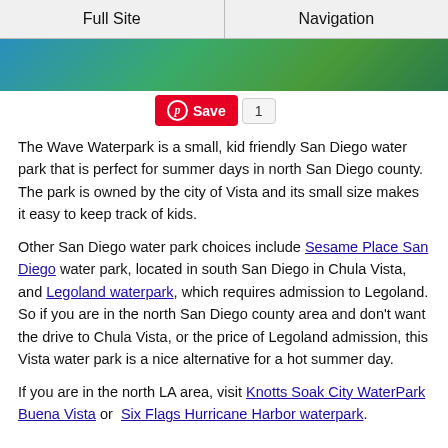Full Site | Navigation
[Figure (photo): Partial view of a water park with blue water and green foliage, cropped at top]
[Figure (other): Pinterest Save button with count 1]
The Wave Waterpark is a small, kid friendly San Diego water park that is perfect for summer days in north San Diego county. The park is owned by the city of Vista and its small size makes it easy to keep track of kids.
Other San Diego water park choices include Sesame Place San Diego water park, located in south San Diego in Chula Vista, and Legoland waterpark, which requires admission to Legoland. So if you are in the north San Diego county area and don't want the drive to Chula Vista, or the price of Legoland admission, this Vista water park is a nice alternative for a hot summer day.
If you are in the north LA area, visit Knotts Soak City WaterPark Buena Vista or  Six Flags Hurricane Harbor waterpark.
The Wave Waterpark Information
[Figure (photo): Bottom portion of a water park photo showing blue water and sky]